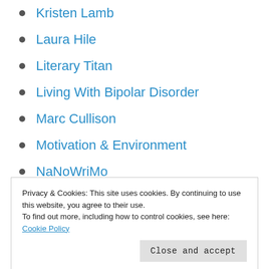Kristen Lamb
Laura Hile
Literary Titan
Living With Bipolar Disorder
Marc Cullison
Motivation & Environment
NaNoWriMo
Nature Poetry
Net Galley
Not Quite Old
Privacy & Cookies: This site uses cookies. By continuing to use this website, you agree to their use.
To find out more, including how to control cookies, see here: Cookie Policy
ShareMyVisit